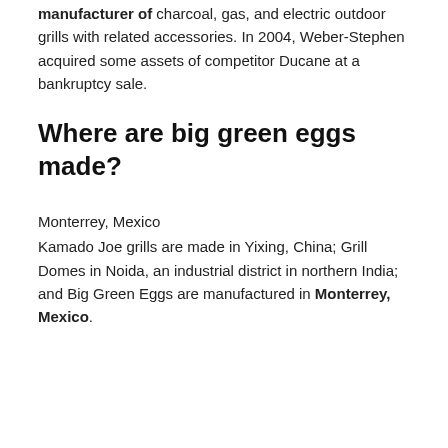manufacturer of charcoal, gas, and electric outdoor grills with related accessories. In 2004, Weber-Stephen acquired some assets of competitor Ducane at a bankruptcy sale.
Where are big green eggs made?
Monterrey, Mexico
Kamado Joe grills are made in Yixing, China; Grill Domes in Noida, an industrial district in northern India; and Big Green Eggs are manufactured in Monterrey, Mexico.